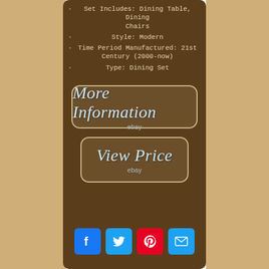Set Includes: Dining Table, Dining Chairs
Style: Modern
Time Period Manufactured: 21st Century (2000-now)
Type: Dining Set
[Figure (other): More Information button with eBay logo]
[Figure (other): View Price button with eBay logo]
[Figure (other): Social share buttons: Facebook, Twitter, Pinterest, Email]